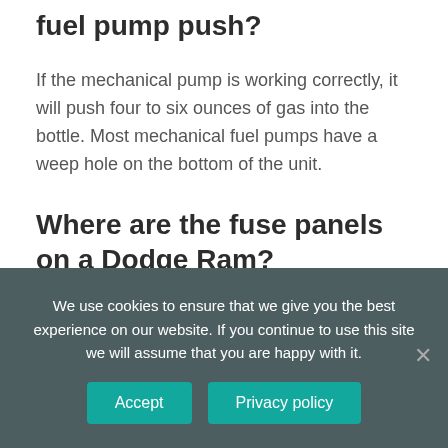How many ounces of gas does a mechanical fuel pump push?
If the mechanical pump is working correctly, it will push four to six ounces of gas into the bottle. Most mechanical fuel pumps have a weep hole on the bottom of the unit.
Where are the fuse panels on a Dodge Ram?
Here you will find fuse box diagrams of Dodge Ram Pickup 1500/2500/3500 1994, 1995, 1996…
We use cookies to ensure that we give you the best experience on our website. If you continue to use this site we will assume that you are happy with it.